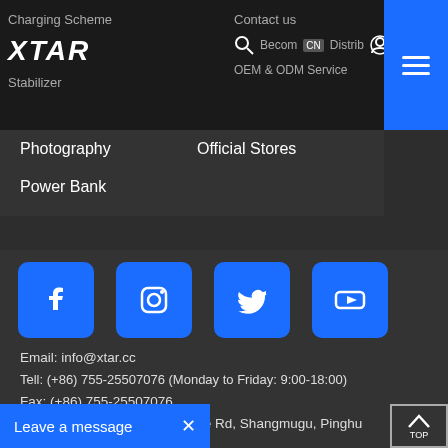Charging Scheme
Contact us
[Figure (logo): XTAR brand logo in white italic bold text on dark background]
Stabilizer
Become a Distributor
OEM & ODM Service
Photography
Official Stores
Power Bank
[Figure (illustration): Social media icons: Facebook, Instagram, Twitter, YouTube — all blue rounded square buttons]
Email: info@xtar.cc
Tell: (+86) 755-25507076 (Monday to Friday: 9:00-18:00)
Fax: (+86) 755-25507076
Address: 5th Floor, No.77 Xinhe Rd, Shangmugu, Pinghu
Shenzhen, Guangdong, China
Leave a message